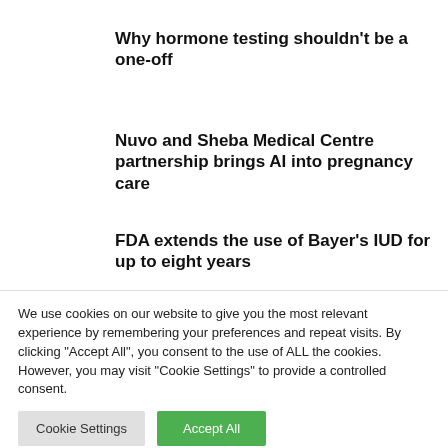Why hormone testing shouldn't be a one-off
Nuvo and Sheba Medical Centre partnership brings AI into pregnancy care
FDA extends the use of Bayer's IUD for up to eight years
We use cookies on our website to give you the most relevant experience by remembering your preferences and repeat visits. By clicking "Accept All", you consent to the use of ALL the cookies. However, you may visit "Cookie Settings" to provide a controlled consent.
Cookie Settings
Accept All